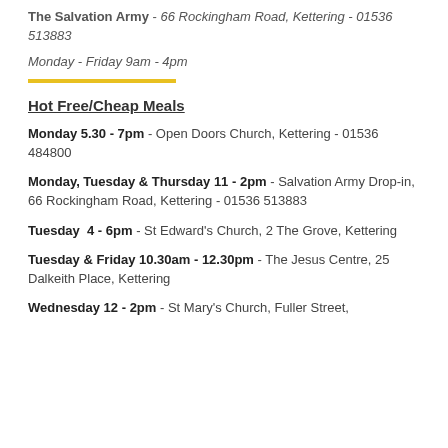The Salvation Army - 66 Rockingham Road, Kettering - 01536 513883
Monday - Friday 9am - 4pm
Hot Free/Cheap Meals
Monday 5.30 - 7pm - Open Doors Church, Kettering - 01536 484800
Monday, Tuesday & Thursday 11 - 2pm - Salvation Army Drop-in, 66 Rockingham Road, Kettering - 01536 513883
Tuesday  4 - 6pm - St Edward's Church, 2 The Grove, Kettering
Tuesday & Friday 10.30am - 12.30pm - The Jesus Centre, 25 Dalkeith Place, Kettering
Wednesday 12 - 2pm - St Mary's Church, Fuller Street,